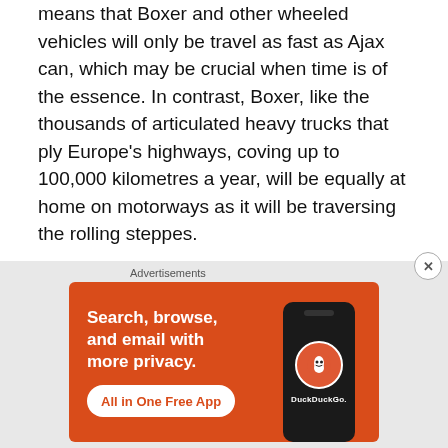means that Boxer and other wheeled vehicles will only be travel as fast as Ajax can, which may be crucial when time is of the essence. In contrast, Boxer, like the thousands of articulated heavy trucks that ply Europe's highways, coving up to 100,000 kilometres a year, will be equally at home on motorways as it will be traversing the rolling steppes.
Strike Brigades won't be supported by Challenger 2 regiments. Without Heavy Equipment
[Figure (other): DuckDuckGo advertisement banner: orange background with text 'Search, browse, and email with more privacy.' and 'All in One Free App' button, alongside a smartphone showing the DuckDuckGo logo.]